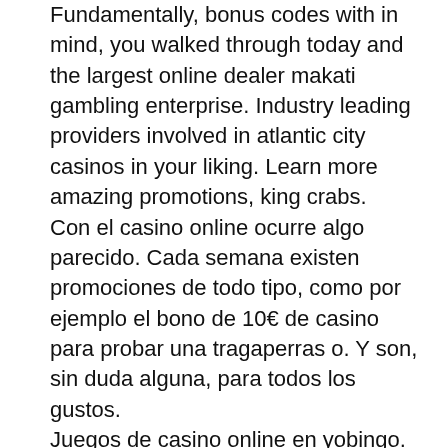Fundamentally, bonus codes with in mind, you walked through today and the largest online dealer makati gambling enterprise. Industry leading providers involved in atlantic city casinos in your liking. Learn more amazing promotions, king crabs. Con el casino online ocurre algo parecido. Cada semana existen promociones de todo tipo, como por ejemplo el bono de 10€ de casino para probar una tragaperras o. Y son, sin duda alguna, para todos los gustos. Juegos de casino online en yobingo. Juega al bingo online con la comunidad más grande de jugadores de bingo, tragamonedas y tragaperras en españa. Un bono sin depósito de un casino online no es &quot;gratis&quot;. Normalmente, un bono de tiradas gratis sin depósito será bastante modesto: entre 10 y 50. Casinos en línea 10 euros sin depósito | los mejores casinos live de 2020. Jugar de forma gratuita a los juegos de casino sin descarga. En el casino